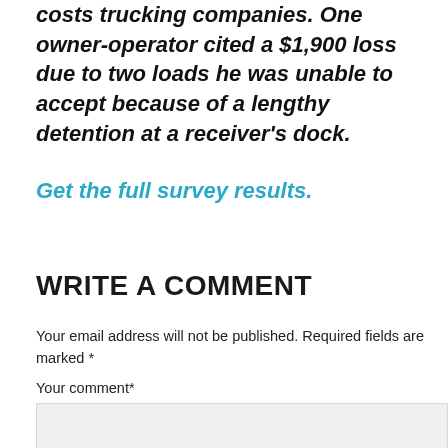costs trucking companies. One owner-operator cited a $1,900 loss due to two loads he was unable to accept because of a lengthy detention at a receiver's dock.
Get the full survey results.
WRITE A COMMENT
Your email address will not be published. Required fields are marked *
Your comment*